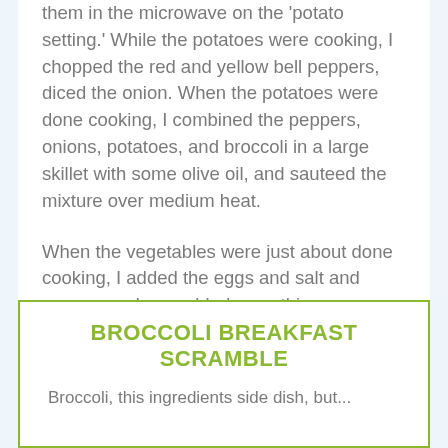them in the microwave on the 'potato setting.' While the potatoes were cooking, I chopped the red and yellow bell peppers, diced the onion. When the potatoes were done cooking, I combined the peppers, onions, potatoes, and broccoli in a large skillet with some olive oil, and sauteed the mixture over medium heat.
When the vegetables were just about done cooking, I added the eggs and salt and pepper, and scrambled everything up. Simple, fast, totally delicious.
BROCCOLI BREAKFAST SCRAMBLE
Broccoli, this ingredients side dish, but...